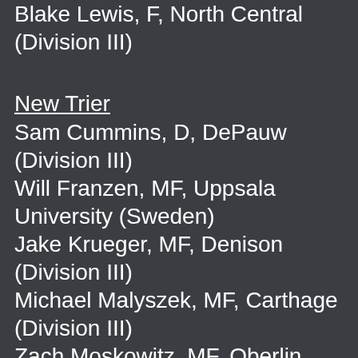Blake Lewis, F, North Central (Division III)
New Trier
Sam Cummins, D, DePauw (Division III)
Will Franzen, MF, Uppsala University (Sweden)
Jake Krueger, MF, Denison (Division III)
Michael Malyszek, MF, Carthage (Division III)
Zach Moskowitz, MF, Oberlin (Division III)
Peter Norehad, D, DePauw (Division III)
Niles West
Naram Mando, MF, Oakton (junior college)
Elgin Bankton, D, Oakton (junior college)